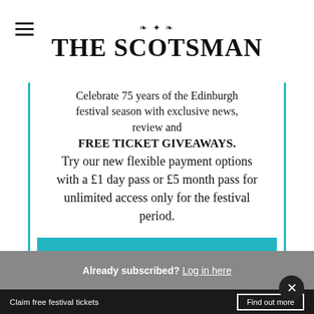[Figure (logo): The Scotsman newspaper logo with ornamental thistle/leaf design above bold serif masthead text reading THE SCOTSMAN]
Celebrate 75 years of the Edinburgh festival season with exclusive news, review and FREE TICKET GIVEAWAYS.
Try our new flexible payment options with a £1 day pass or £5 month pass for unlimited access only for the festival period.
Find out more
Already subscribed? Log in here
Claim free festival tickets   Find out more